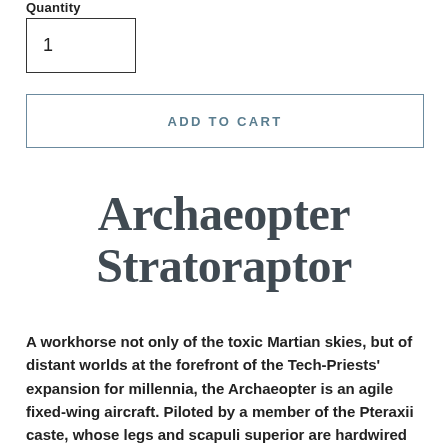Quantity
1
ADD TO CART
Archaeopter Stratoraptor
A workhorse not only of the toxic Martian skies, but of distant worlds at the forefront of the Tech-Priests' expansion for millennia, the Archaeopter is an agile fixed-wing aircraft. Piloted by a member of the Pteraxii caste, whose legs and scapuli superior are hardwired